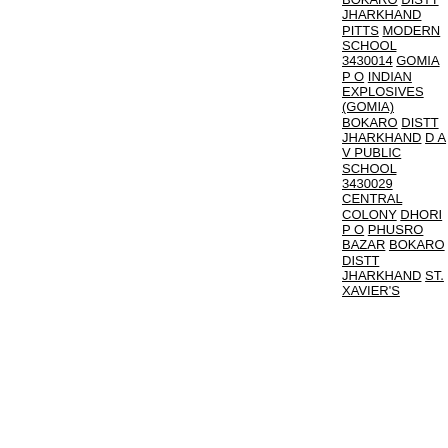BOKARO DISTT JHARKHAND PITTS MODERN SCHOOL 3430014 GOMIA P O INDIAN EXPLOSIVES (GOMIA) BOKARO DISTT JHARKHAND D A V PUBLIC SCHOOL 3430029 CENTRAL COLONY DHORI P O PHUSRO BAZAR BOKARO DISTT JHARKHAND ST. XAVIER'S